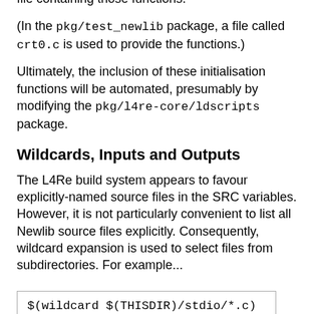replacement C library involves defining an extra file containing those functions.
(In the pkg/test_newlib package, a file called crt0.c is used to provide the functions.)
Ultimately, the inclusion of these initialisation functions will be automated, presumably by modifying the pkg/l4re-core/ldscripts package.
Wildcards, Inputs and Outputs
The L4Re build system appears to favour explicitly-named source files in the SRC variables. However, it is not particularly convenient to list all Newlib source files explicitly. Consequently, wildcard expansion is used to select files from subdirectories. For example...
$(wildcard $(THISDIR)/stdio/*.c)